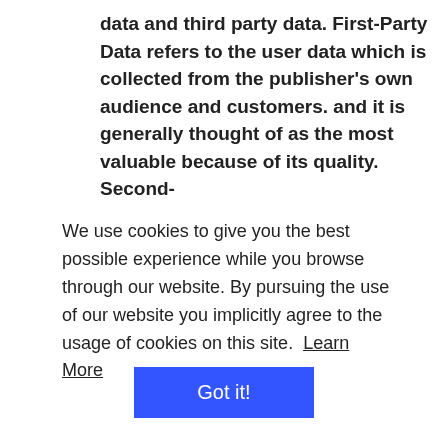data and third party data. First-Party Data refers to the user data which is collected from the publisher's own audience and customers. and it is generally thought of as the most valuable because of its quality. Second-
We use cookies to give you the best possible experience while you browse through our website. By pursuing the use of our website you implicitly agree to the usage of cookies on this site.  Learn More
Got it!